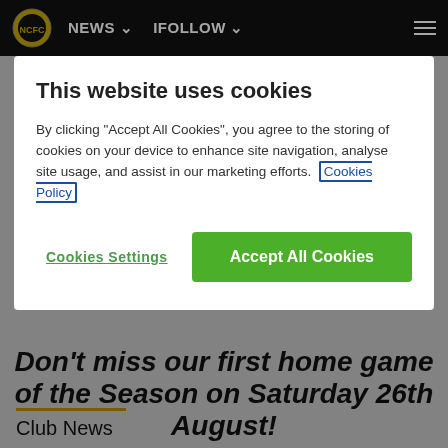NEWS   IFOLLOW
This website uses cookies
By clicking “Accept All Cookies”, you agree to the storing of cookies on your device to enhance site navigation, analyse site usage, and assist in our marketing efforts. Cookies Policy
Cookies Settings
Accept All Cookies
Don’t miss our first home game of the Season on Saturday 26th August!
GET TICKETS TODAY
Club News